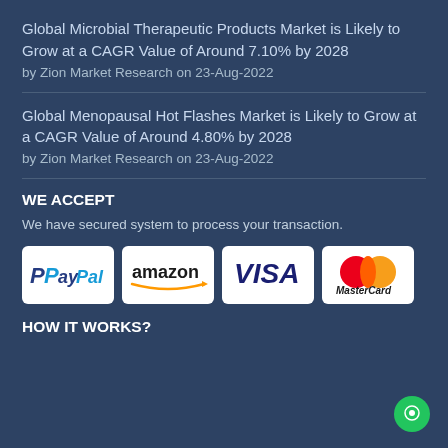Global Microbial Therapeutic Products Market is Likely to Grow at a CAGR Value of Around 7.10% by 2028
by Zion Market Research on 23-Aug-2022
Global Menopausal Hot Flashes Market is Likely to Grow at a CAGR Value of Around 4.80% by 2028
by Zion Market Research on 23-Aug-2022
WE ACCEPT
We have secured system to process your transaction.
[Figure (logo): Payment method logos: PayPal, Amazon, VISA, MasterCard]
HOW IT WORKS?